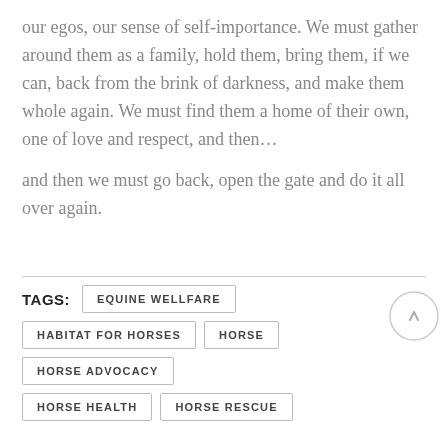our egos, our sense of self-importance. We must gather around them as a family, hold them, bring them, if we can, back from the brink of darkness, and make them whole again. We must find them a home of their own, one of love and respect, and then…

and then we must go back, open the gate and do it all over again.
TAGS: EQUINE WELLFARE
HABITAT FOR HORSES
HORSE
HORSE ADVOCACY
HORSE HEALTH
HORSE RESCUE